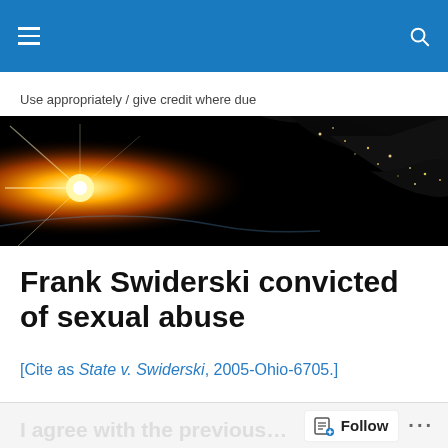Navigation bar with hamburger menu and search icon
Use appropriately / give credit where due
[Figure (photo): Satellite image of Earth at night showing Europe and the Sun rising on the horizon with bright orange glow]
Frank Swiderski convicted of sexual abuse
[Cite as State v. Swiderski, 2005-Ohio-6705.]
Follow ...